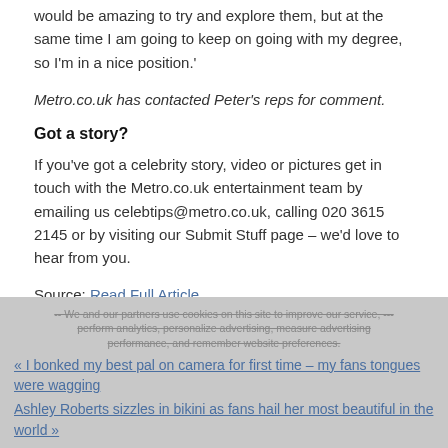would be amazing to try and explore them, but at the same time I am going to keep on going with my degree, so I'm in a nice position.'
Metro.co.uk has contacted Peter's reps for comment.
Got a story?
If you've got a celebrity story, video or pictures get in touch with the Metro.co.uk entertainment team by emailing us celebtips@metro.co.uk, calling 020 3615 2145 or by visiting our Submit Stuff page – we'd love to hear from you.
Source: Read Full Article
We and our partners use cookies on this site to improve our service, perform analytics, personalize advertising, measure advertising performance, and remember website preferences.
« I bonked my best pal on camera for first time – my fans tongues were wagging
Ashley Roberts sizzles in bikini as fans hail her most beautiful in the world »